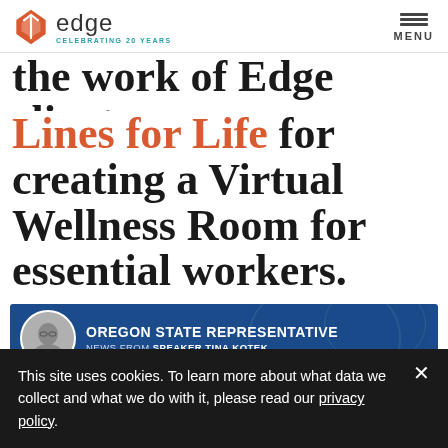[Figure (logo): Edge logo with red diamond and 'CELEBRATING 20 YEARS' tagline]
the work of Edge client Lines for Life for creating a Virtual Wellness Room for essential workers.
[Figure (photo): Oregon State Representative news banner featuring Speaker Tina Kotek with circular portrait photo on blue background]
This site uses cookies. To learn more about what data we collect and what we do with it, please read our privacy policy.